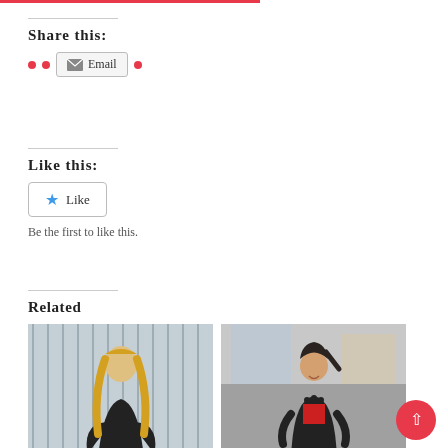Share this:
Email
Like this:
Like
Be the first to like this.
Related
[Figure (photo): Woman with long blonde hair wearing black off-shoulder outfit, posing in front of metallic curtain backdrop]
[Figure (photo): Woman with dark hair in a ponytail wearing black blazer over red top, smiling in indoor setting]